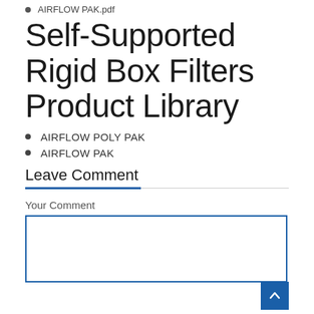AIRFLOW PAK.pdf
Self-Supported Rigid Box Filters Product Library
AIRFLOW POLY PAK
AIRFLOW PAK
Leave Comment
Your Comment